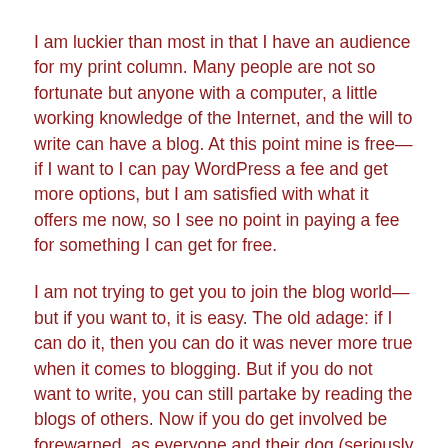I am luckier than most in that I have an audience for my print column. Many people are not so fortunate but anyone with a computer, a little working knowledge of the Internet, and the will to write can have a blog. At this point mine is free—if I want to I can pay WordPress a fee and get more options, but I am satisfied with what it offers me now, so I see no point in paying a fee for something I can get for free.
I am not trying to get you to join the blog world—but if you want to, it is easy. The old adage: if I can do it, then you can do it was never more true when it comes to blogging. But if you do not want to write, you can still partake by reading the blogs of others. Now if you do get involved be forewarned, as everyone and their dog (seriously there is a TV program where a dog has a blog) seems to have a blog and you may have to be selective. I tend to look for inspiration, humour, and human connection, not angst(though a little angst can be interesting as long as that is not all the blogger talks about).